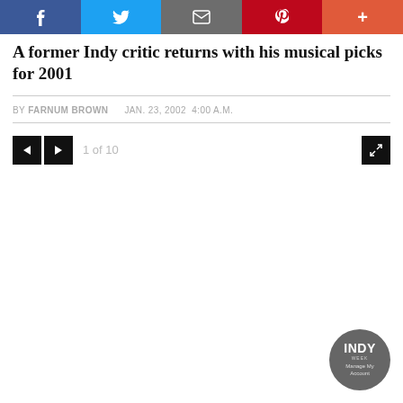Social share bar: Facebook, Twitter, Email, Pinterest, More
A former Indy critic returns with his musical picks for 2001
BY FARNUM BROWN   JAN. 23, 2002  4:00 A.M.
1 of 10
[Figure (other): INDY Manage My Account circular badge/logo]